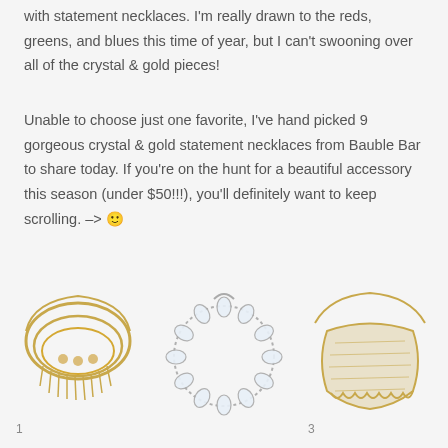with statement necklaces. I'm really drawn to the reds, greens, and blues this time of year, but I can't swooning over all of the crystal & gold pieces!
Unable to choose just one favorite, I've hand picked 9 gorgeous crystal & gold statement necklaces from Bauble Bar to share today. If you're on the hunt for a beautiful accessory this season (under $50!!!), you'll definitely want to keep scrolling. -> 🙂
[Figure (photo): Gold layered statement necklace with fringe, labeled 1]
[Figure (photo): Crystal circular statement necklace with large clear gems, labeled 2]
[Figure (photo): Gold mesh bib statement necklace with scalloped edge, labeled 3]